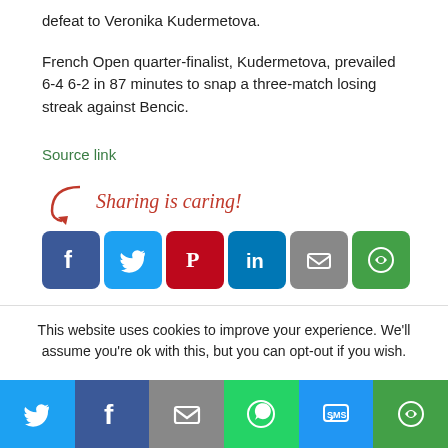defeat to Veronika Kudermetova.
French Open quarter-finalist, Kudermetova, prevailed 6-4 6-2 in 87 minutes to snap a three-match losing streak against Bencic.
Source link
[Figure (infographic): Sharing is caring! social media sharing buttons: Facebook, Twitter, Pinterest, LinkedIn, Email, More]
This website uses cookies to improve your experience. We'll assume you're ok with this, but you can opt-out if you wish.
[Figure (infographic): Bottom share bar with Twitter, Facebook, Email, WhatsApp, SMS, More buttons]